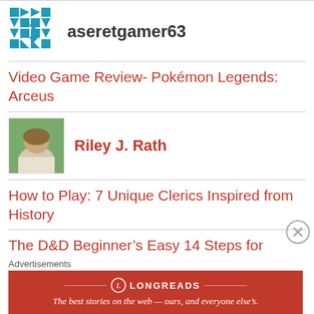aseretgamer63
Video Game Review- Pokémon Legends: Arceus
[Figure (photo): Author headshot of Riley J. Rath - man with light hair smiling outdoors]
Riley J. Rath
How to Play: 7 Unique Clerics Inspired from History
The D&D Beginner's Easy 14 Steps for Interesting First Characters
“Vive le Resistance” – Part 6: Landing
Advertisements
[Figure (screenshot): Longreads advertisement banner: red background with Longreads logo and tagline 'The best stories on the web — ours, and everyone else's.']